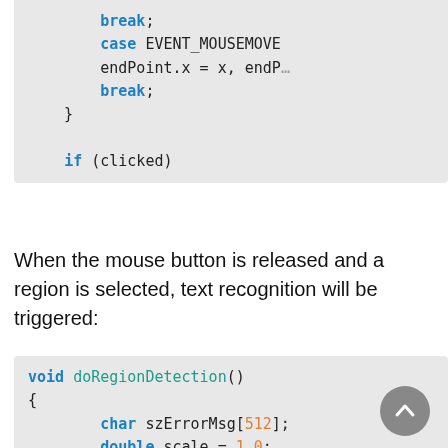[Figure (screenshot): Code snippet showing: break; case EVENT_MOUSEMOVE ... endPoint.x = x, endP... break; } if (clicked)]
When the mouse button is released and a region is selected, text recognition will be triggered:
[Figure (screenshot): Code snippet showing: void doRegionDetection() { char szErrorMsg[512]; double scale = 1.0; if (hScale >= wScale && hSca... {]